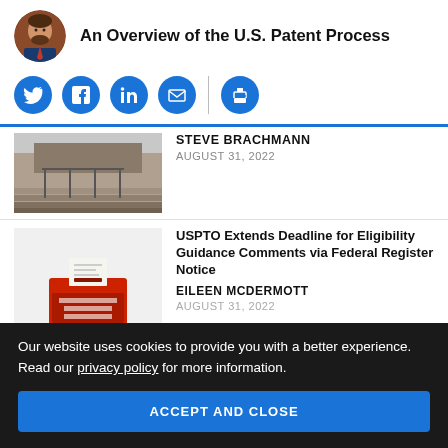[Figure (photo): Circular avatar photo of a man in a suit against a brick wall background]
An Overview of the U.S. Patent Process
[Figure (infographic): Social media sharing icons: Twitter, Facebook, LinkedIn, Email, Print]
[Figure (photo): Photo of building steps with metal railings]
STEVE BRACHMANN
AUGUST 31, 2022
USPTO Extends Deadline for Eligibility Guidance Comments via Federal Register Notice
[Figure (photo): Red ballot box with papers, labeled YOUR COMMENT]
EILEEN MCDERMOTT
AUGUST 31, 2022
Our website uses cookies to provide you with a better experience. Read our privacy policy for more information.
ACCEPT AND CLOSE
New Research Supports What We've Long Known: Enforcement Is
[Figure (photo): Dark photo with blue glowing network nodes]